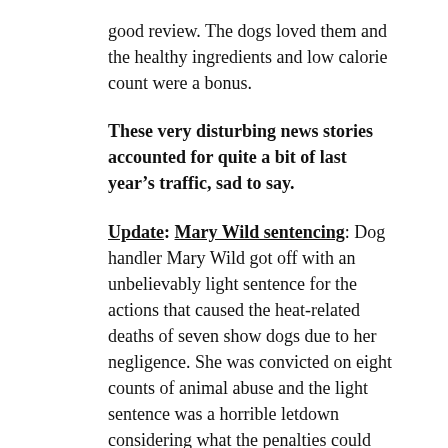good review. The dogs loved them and the healthy ingredients and low calorie count were a bonus.
These very disturbing news stories accounted for quite a bit of last year’s traffic, sad to say.
Update: Mary Wild sentencing: Dog handler Mary Wild got off with an unbelievably light sentence for the actions that caused the heat-related deaths of seven show dogs due to her negligence. She was convicted on eight counts of animal abuse and the light sentence was a horrible letdown considering what the penalties could have been.